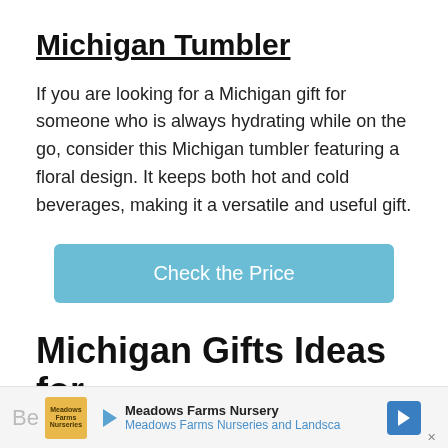Michigan Tumbler
If you are looking for a Michigan gift for someone who is always hydrating while on the go, consider this Michigan tumbler featuring a floral design. It keeps both hot and cold beverages, making it a versatile and useful gift.
Check the Price
Michigan Gifts Ideas for
Be  Meadows Farms Nursery  Meadows Farms Nurseries and Landsca